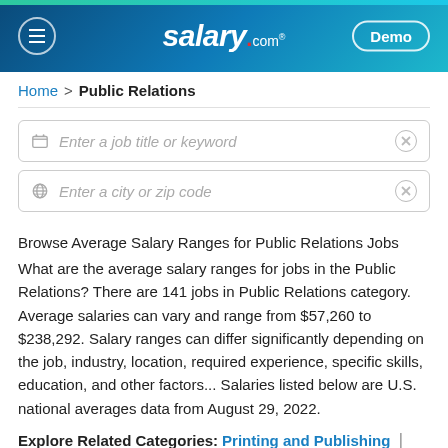salary.com — Demo
Home > Public Relations
Enter a job title or keyword
Enter a city or zip code
Browse Average Salary Ranges for Public Relations Jobs
What are the average salary ranges for jobs in the Public Relations? There are 141 jobs in Public Relations category. Average salaries can vary and range from $57,260 to $238,292. Salary ranges can differ significantly depending on the job, industry, location, required experience, specific skills, education, and other factors... Salaries listed below are U.S. national averages data from August 29, 2022.
Explore Related Categories: Printing and Publishing |